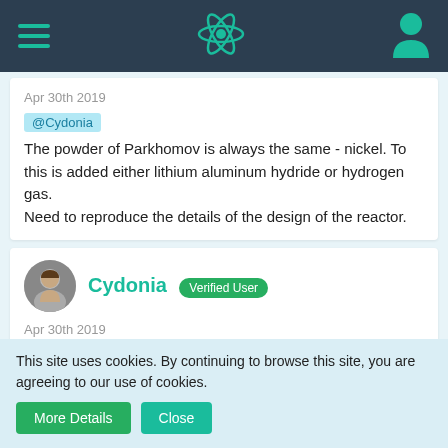Navigation bar with hamburger menu, atom logo, and user icon
Apr 30th 2019
@Cydonia
The powder of Parkhomov is always the same - nickel. To this is added either lithium aluminum hydride or hydrogen gas.
Need to reproduce the details of the design of the reactor.
Cydonia  Verified User
Apr 30th 2019
Quote from Drummer
@Cydonia
The powder of Parkhomov is always the same - nickel. To
This site uses cookies. By continuing to browse this site, you are agreeing to our use of cookies.